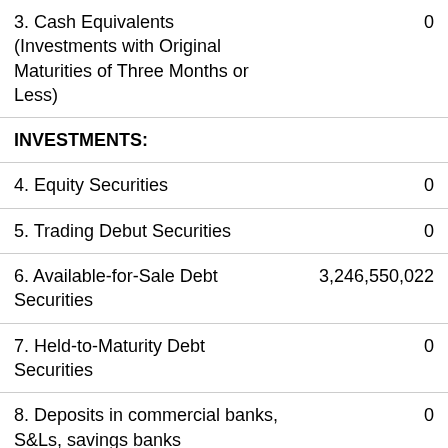| Item | Value |
| --- | --- |
| 3. Cash Equivalents (Investments with Original Maturities of Three Months or Less) | 0 |
| INVESTMENTS: |  |
| 4. Equity Securities | 0 |
| 5. Trading Debut Securities | 0 |
| 6. Available-for-Sale Debt Securities | 3,246,550,022 |
| 7. Held-to-Maturity Debt Securities | 0 |
| 8. Deposits in commercial banks, S&Ls, savings banks | 0 |
| 9. Loans to and investments in natural person credit unions | 0 |